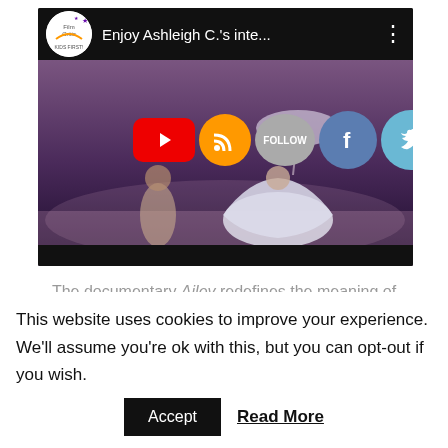[Figure (screenshot): YouTube video embed showing a dance performance titled 'Enjoy Ashleigh C.'s inte...' with social media overlay icons (RSS, Follow, Facebook, Twitter) visible over the video thumbnail.]
The documentary Ailey redefines the meaning of contemporary dance and the unconventional form...
This website uses cookies to improve your experience. We'll assume you're ok with this, but you can opt-out if you wish.